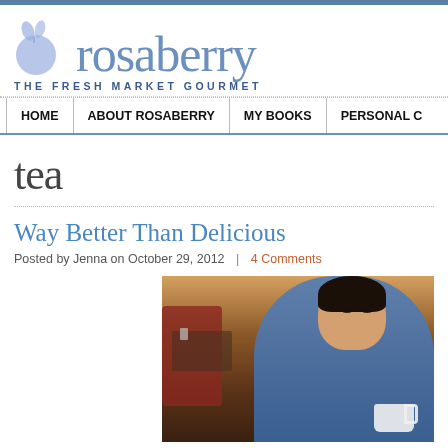rosaberry — THE FRESH MARKET GOURMET
HOME | ABOUT ROSABERRY | MY BOOKS | PERSONAL
tea
Way Better Than Delicious
Posted by Jenna on October 29, 2012  |  4 Comments
[Figure (photo): Young Asian girl sitting in a restaurant booth wearing a blue patterned top, holding a white teacup, smiling slightly at camera.]